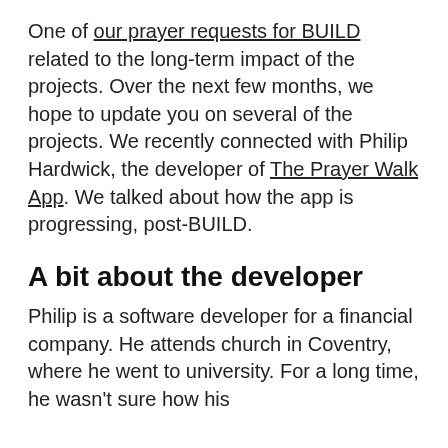One of our prayer requests for BUILD related to the long-term impact of the projects. Over the next few months, we hope to update you on several of the projects. We recently connected with Philip Hardwick, the developer of The Prayer Walk App. We talked about how the app is progressing, post-BUILD.
A bit about the developer
Philip is a software developer for a financial company. He attends church in Coventry, where he went to university. For a long time, he wasn't sure how his development skills fit into Christian work